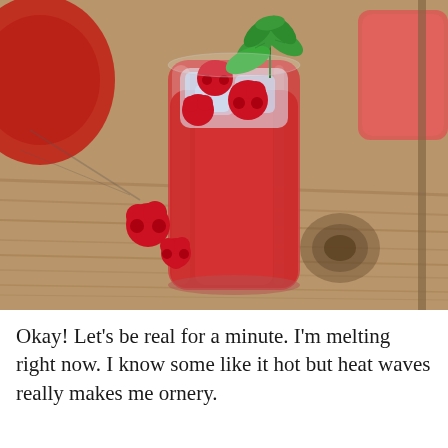[Figure (photo): A tall glass of raspberry iced tea with ice cubes, fresh raspberries floating inside, garnished with mint leaves on top, sitting on a rustic wooden surface. A partial red drink and another glass are visible in the background.]
Okay! Let's be real for a minute. I'm melting right now. I know some like it hot but heat waves really makes me ornery.